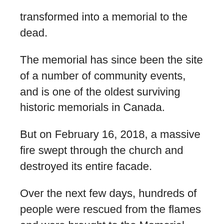transformed into a memorial to the dead.
The memorial has since been the site of a number of community events, and is one of the oldest surviving historic memorials in Canada.
But on February 16, 2018, a massive fire swept through the church and destroyed its entire facade.
Over the next few days, hundreds of people were rescued from the flames and were brought to the Memorial Hall to be cared for by staff, volunteers and others who were trying to put out the blaze.
While many of those who lost their lives were eventually saved, the memorial has long been a place